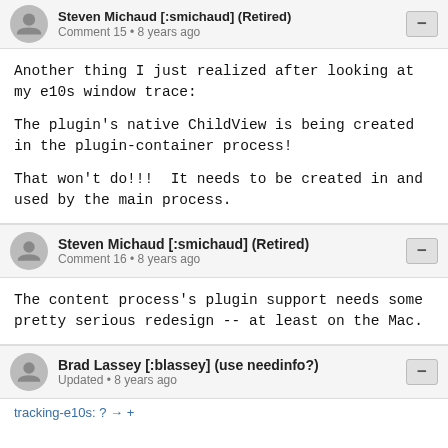Steven Michaud [:smichaud] (Retired) · Comment 15 · 8 years ago
Another thing I just realized after looking at my e10s window trace:

The plugin's native ChildView is being created in the plugin-container process!

That won't do!!!  It needs to be created in and used by the main process.
Steven Michaud [:smichaud] (Retired) · Comment 16 · 8 years ago
The content process's plugin support needs some pretty serious redesign -- at least on the Mac.
Brad Lassey [:blassey] (use needinfo?) · Updated · 8 years ago
tracking-e10s: ? → +